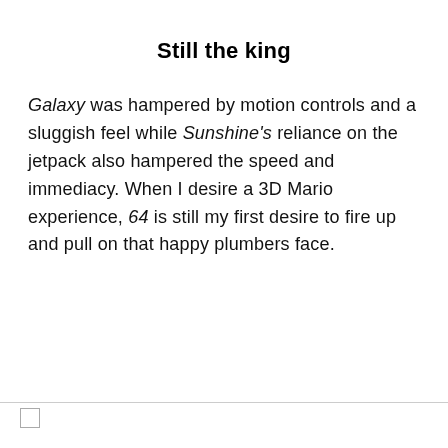Still the king
Galaxy was hampered by motion controls and a sluggish feel while Sunshine's reliance on the jetpack also hampered the speed and immediacy. When I desire a 3D Mario experience, 64 is still my first desire to fire up and pull on that happy plumbers face.